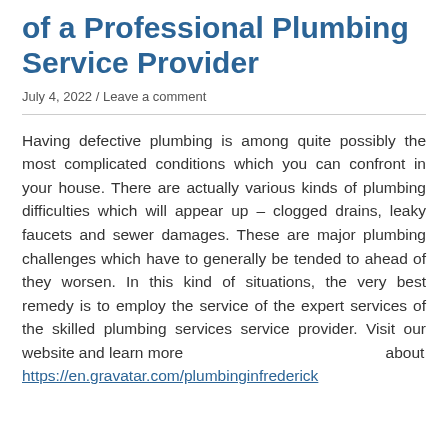of a Professional Plumbing Service Provider
July 4, 2022 / Leave a comment
Having defective plumbing is among quite possibly the most complicated conditions which you can confront in your house. There are actually various kinds of plumbing difficulties which will appear up – clogged drains, leaky faucets and sewer damages. These are major plumbing challenges which have to generally be tended to ahead of they worsen. In this kind of situations, the very best remedy is to employ the service of the expert services of the skilled plumbing services service provider. Visit our website and learn more                                                          about https://en.gravatar.com/plumbinginfrederick